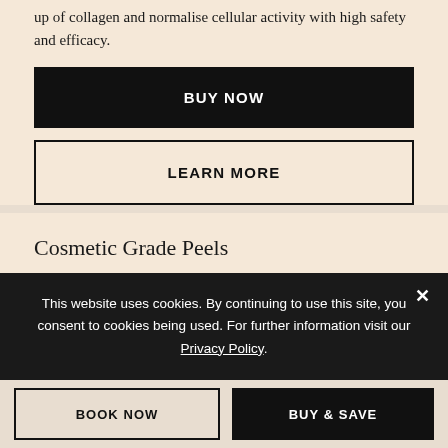up of collagen and normalise cellular activity with high safety and efficacy.
BUY NOW
LEARN MORE
Cosmetic Grade Peels
This website uses cookies. By continuing to use this site, you consent to cookies being used. For further information visit our Privacy Policy.
BOOK NOW
BUY & SAVE